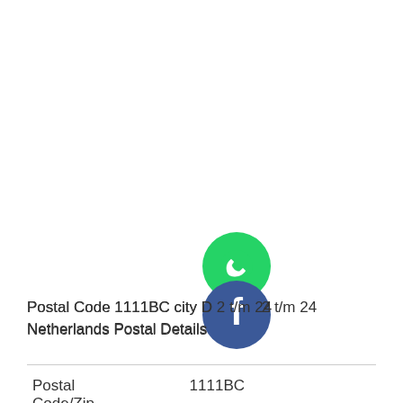[Figure (illustration): Two overlapping social media icon buttons: a green WhatsApp button on top and a dark blue Facebook button below it, partially overlapping.]
Postal Code 1111BC city D... 2 t/m 24 Netherlands Postal Details
| Postal Code/Zip Code | 1111BC |